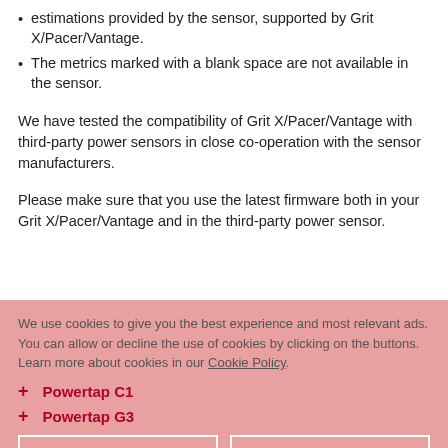estimations provided by the sensor, supported by Grit X/Pacer/Vantage.
The metrics marked with a blank space are not available in the sensor.
We have tested the compatibility of Grit X/Pacer/Vantage with third-party power sensors in close co-operation with the sensor manufacturers.
Please make sure that you use the latest firmware both in your Grit X/Pacer/Vantage and in the third-party power sensor.
We use cookies to give you the best experience and most relevant ads. You can allow or decline the use of cookies by clicking on the buttons. Learn more about cookies in our Cookie Policy.
Powertap C1
Powertap G3
Powertap P1
Powertap P1S